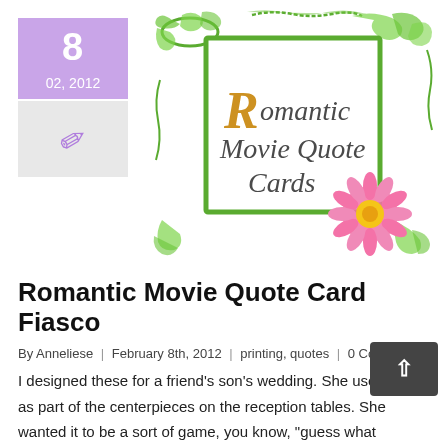[Figure (logo): Romantic Movie Quote Cards logo with green floral border and pink flower, text in orange and dark serif font]
Romantic Movie Quote Card Fiasco
By Anneliese | February 8th, 2012 | printing, quotes | 0 Comments
I designed these for a friend's son's wedding. She used them as part of the centerpieces on the reception tables. She wanted it to be a sort of game, you know, "guess what romantic movie this quote is from." It